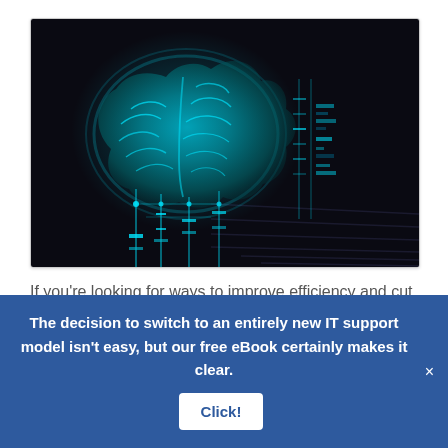[Figure (illustration): Dark background illustration showing a glowing cyan/blue digital brain on the left with circuit-like lines and data visualization elements extending downward and to the right, suggesting AI or technology concept.]
If you're looking for ways to improve efficiency and cut costs, then you may have already made the switch to
The decision to switch to an entirely new IT support model isn't easy, but our free eBook certainly makes it clear. Click!